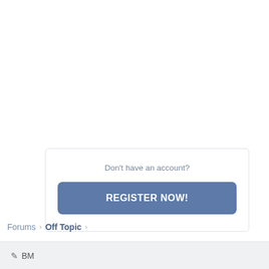Don't have an account?
REGISTER NOW!
Forums › Off Topic ›
BM